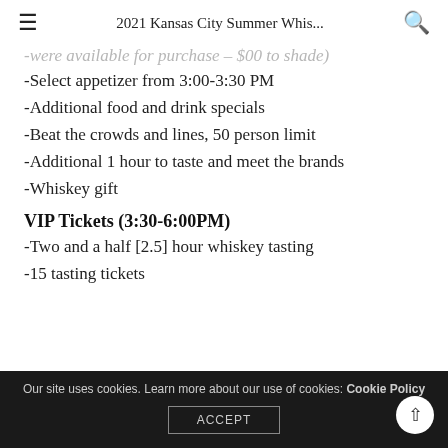2021 Kansas City Summer Whis...
-were available for purchase – $00 to shade)
-Select appetizer from 3:00-3:30 PM
-Additional food and drink specials
-Beat the crowds and lines, 50 person limit
-Additional 1 hour to taste and meet the brands
-Whiskey gift
VIP Tickets (3:30-6:00PM)
-Two and a half [2.5] hour whiskey tasting
-15 tasting tickets
Our site uses cookies. Learn more about our use of cookies: Cookie Policy ACCEPT